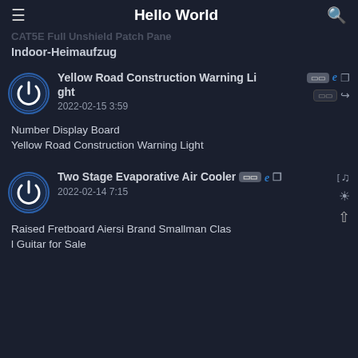Hello World
CAT5E Full Unshield Patch Pane
Indoor-Heimaufzug
Yellow Road Construction Warning Light
2022-02-15 3:59
Number Display Board
Yellow Road Construction Warning Light
Two Stage Evaporative Air Cooler
2022-02-14 7:15
Raised Fretboard Aiersi Brand Smallman Clas
l Guitar for Sale